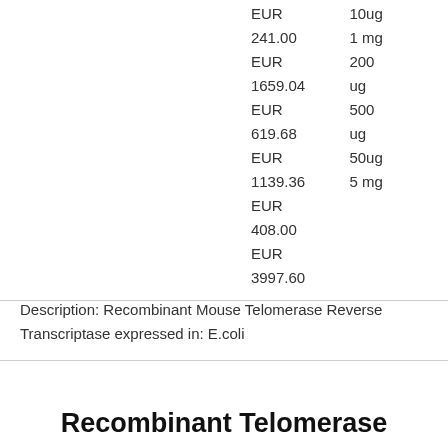| Price | Quantity |
| --- | --- |
| EUR | 10ug |
| 241.00 EUR | 1 mg |
| 1659.04 EUR | 200 ug |
| 619.68 EUR | 500 ug |
| 1139.36 EUR | 50ug |
| 408.00 EUR | 5 mg |
| 3997.60 EUR |  |
Description: Recombinant Mouse Telomerase Reverse Transcriptase expressed in: E.coli
Recombinant Telomerase